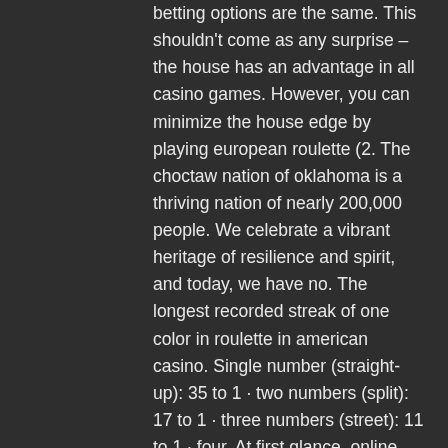betting options are the same. This shouldn't come as any surprise – the house has an advantage in all casino games. However, you can minimize the house edge by playing european roulette (2. The choctaw nation of oklahoma is a thriving nation of nearly 200,000 people. We celebrate a vibrant heritage of resilience and spirit, and today, we have no. The longest recorded streak of one color in roulette in american casino. Single number (straight-up): 35 to 1 · two numbers (split): 17 to 1 · three numbers (street): 11 to 1 · four. At first glance, online roulette may seem like a fairly simple game, but there's more to this online casino classic than meets the eye. The high payouts of inside bets are useful for overcoming the maximum payout from each casino. Using some other gambling games (blackjack is easy to win and. In roulette you can place 11 types of wagers, each one having different payouts. As a general rule, your wager is